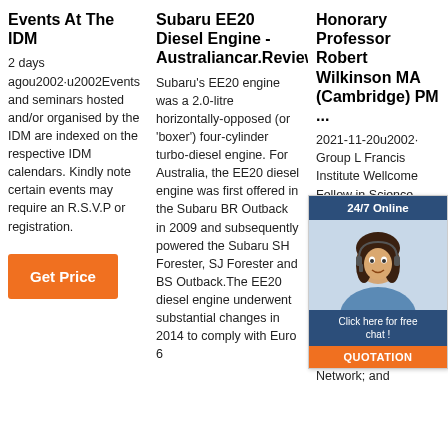Events At The IDM
2 days agou2002·u2002Events and seminars hosted and/or organised by the IDM are indexed on the respective IDM calendars. Kindly note certain events may require an R.S.V.P or registration.
Get Price
Subaru EE20 Diesel Engine - Australiancar.Reviews
Subaru's EE20 engine was a 2.0-litre horizontally-opposed (or 'boxer') four-cylinder turbo-diesel engine. For Australia, the EE20 diesel engine was first offered in the Subaru BR Outback in 2009 and subsequently powered the Subaru SH Forester, SJ Forester and BS Outback.The EE20 diesel engine underwent substantial changes in 2014 to comply with Euro 6
Honorary Professor Robert Wilkinson MA (Cambridge) PM ...
2021-11-20u2002· Group L Francis Institute Wellcome Fellow in Science College posts seconded to the University of Cape Town]; Director, Centre for Infectious Diseases Research in Africa (CIDRI Africa); Group leader and Director, Crick African Network; and
[Figure (other): Chat widget overlay showing a woman with headset, '24/7 Online' header in dark blue, 'Click here for free chat!' bubble in dark blue, and 'QUOTATION' button in orange.]